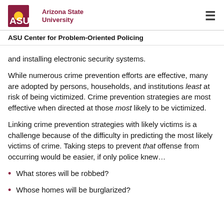ASU Arizona State University | ASU Center for Problem-Oriented Policing
and installing electronic security systems.
While numerous crime prevention efforts are effective, many are adopted by persons, households, and institutions least at risk of being victimized. Crime prevention strategies are most effective when directed at those most likely to be victimized.
Linking crime prevention strategies with likely victims is a challenge because of the difficulty in predicting the most likely victims of crime. Taking steps to prevent that offense from occurring would be easier, if only police knew…
What stores will be robbed?
Whose homes will be burglarized?